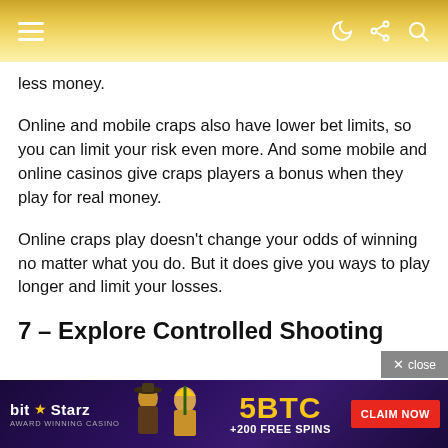Navigation header with hamburger menu and icons
less money.
Online and mobile craps also have lower bet limits, so you can limit your risk even more. And some mobile and online casinos give craps players a bonus when they play for real money.
Online craps play doesn’t change your odds of winning no matter what you do. But it does give you ways to play longer and limit your losses.
7 – Explore Controlled Shooting
[Figure (screenshot): BitStarz casino advertisement banner showing 5BTC + 200 Free Spins offer with Claim Now button]